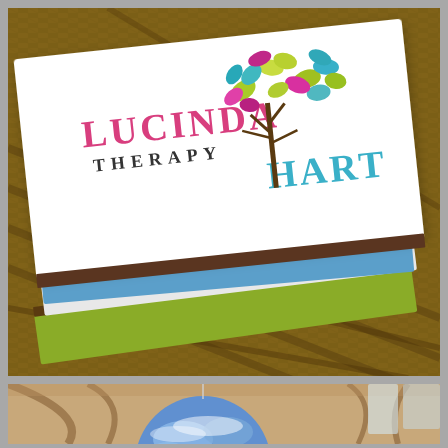[Figure (photo): Photo of stacked business cards for Lucinda Hart Therapy. The top card is white and features a colorful tree logo with multi-colored leaves (yellow-green, teal, magenta/pink) and the text 'LUCINDA THERAPY HART' in pink/magenta and teal lettering. Below are blue, chocolate brown, white, and olive green colored cards, all fanned out on a wicker/rattan surface.]
[Figure (photo): Photo of a large inflatable globe (Earth) hanging inside a grand cathedral or church interior, showing classic stone arched architecture with wooden roof beams. The globe shows blue oceans and cloud formations.]